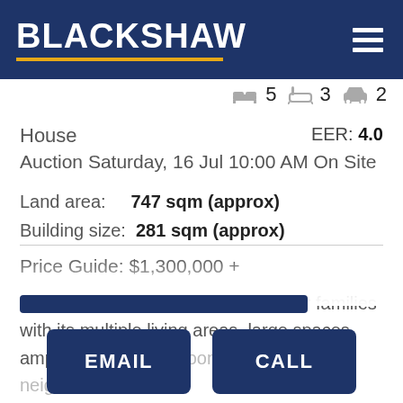BLACKSHAW
5  3  2
House   EER: 4.0
Auction Saturday, 16 Jul 10:00 AM On Site
Land area: 747 sqm (approx)
Building size: 281 sqm (approx)
Price Guide: $1,300,000 +
The layout of this home is perfect for families with its multiple living areas, large spaces, ample choice of bedrooms and quiet neighborhood
EMAIL   CALL